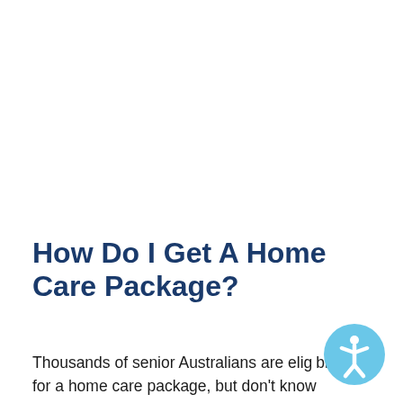How Do I Get A Home Care Package?
Thousands of senior Australians are eligible for a home care package, but don't know